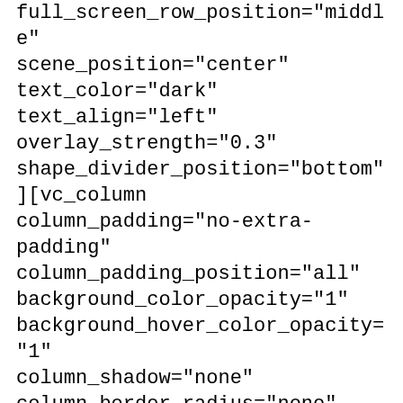full_screen_row_position="middle" scene_position="center" text_color="dark" text_align="left" overlay_strength="0.3" shape_divider_position="bottom"][vc_column column_padding="no-extra-padding" column_padding_position="all" background_color_opacity="1" background_hover_color_opacity="1" column_shadow="none" column_border_radius="none" width="1/1" tablet_text_alignment="default" phone_text_alignment="default" column_border_width="none" column_border_style="solid"][vc_column_text]
Their biggest population can be found in Wrocław - and it is still growing! You can meet them all around the city. They have different professions; there's a postman among them and a smith, a